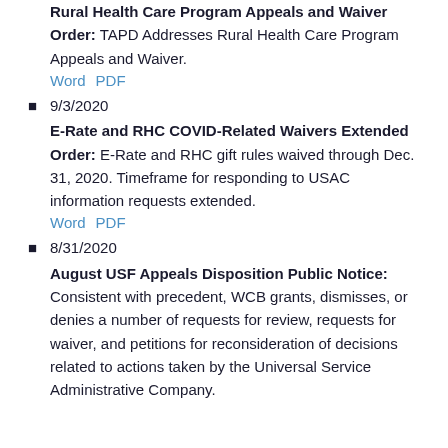Rural Health Care Program Appeals and Waiver Order: TAPD Addresses Rural Health Care Program Appeals and Waiver. Word PDF
9/3/2020 E-Rate and RHC COVID-Related Waivers Extended Order: E-Rate and RHC gift rules waived through Dec. 31, 2020. Timeframe for responding to USAC information requests extended. Word PDF
8/31/2020 August USF Appeals Disposition Public Notice: Consistent with precedent, WCB grants, dismisses, or denies a number of requests for review, requests for waiver, and petitions for reconsideration of decisions related to actions taken by the Universal Service Administrative Company.